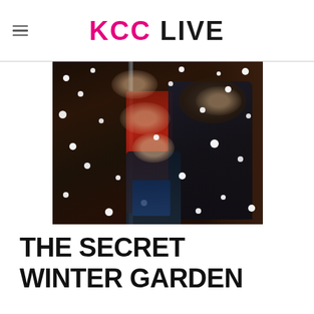KCC LIVE
[Figure (photo): A family of adults and children laughing and smiling in a doorway with snow falling around them at night. Winter outdoor scene with snowflakes visible throughout the image.]
THE SECRET WINTER GARDEN